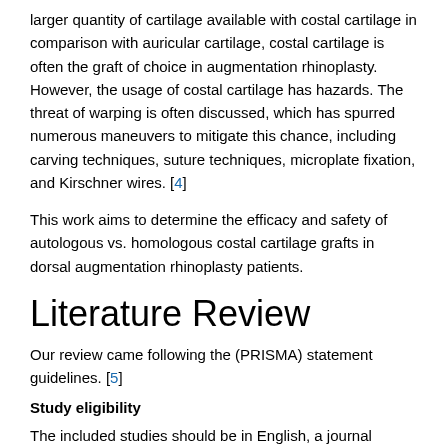larger quantity of cartilage available with costal cartilage in comparison with auricular cartilage, costal cartilage is often the graft of choice in augmentation rhinoplasty. However, the usage of costal cartilage has hazards. The threat of warping is often discussed, which has spurred numerous maneuvers to mitigate this chance, including carving techniques, suture techniques, microplate fixation, and Kirschner wires. [4]
This work aims to determine the efficacy and safety of autologous vs. homologous costal cartilage grafts in dorsal augmentation rhinoplasty patients.
Literature Review
Our review came following the (PRISMA) statement guidelines. [5]
Study eligibility
The included studies should be in English, a journal published article, and a human study describing dorsal augmentation rhinoplasty patients. The excluded studies were non-English or animal studies or describing other types of rhinoplasty.